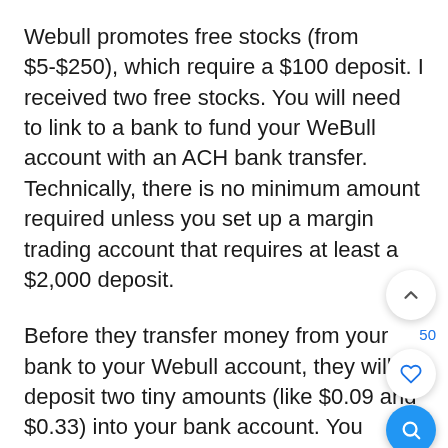Webull promotes free stocks (from $5-$250), which require a $100 deposit. I received two free stocks. You will need to link to a bank to fund your WeBull account with an ACH bank transfer. Technically, there is no minimum amount required unless you set up a margin trading account that requires at least a $2,000 deposit.
Before they transfer money from your bank to your Webull account, they will deposit two tiny amounts (like $0.09 and $0.33) into your bank account. You confirm the deposit amounts to Webull. There is a 24-hour delay in the posting. The next day, I found the deposits and attempted many times to let Webull know.